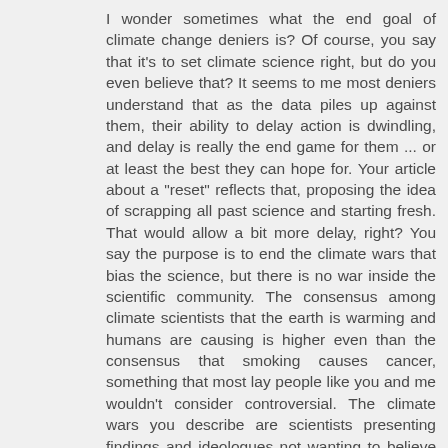I wonder sometimes what the end goal of climate change deniers is? Of course, you say that it's to set climate science right, but do you even believe that? It seems to me most deniers understand that as the data piles up against them, their ability to delay action is dwindling, and delay is really the end game for them ... or at least the best they can hope for. Your article about a "reset" reflects that, proposing the idea of scrapping all past science and starting fresh. That would allow a bit more delay, right? You say the purpose is to end the climate wars that bias the science, but there is no war inside the scientific community. The consensus among climate scientists that the earth is warming and humans are causing is higher even than the consensus that smoking causes cancer, something that most lay people like you and me wouldn't consider controversial. The climate wars you describe are scientists presenting findings and ideologues not wanting to believe them. A grand reset would not change that.